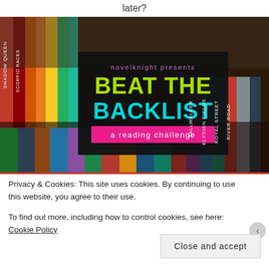later?
[Figure (illustration): Beat the Backlist reading challenge banner by novelknight, overlaid on a collage of colorful book spines. Text reads: 'novelknight presents BEAT THE BACKLIST a reading challenge'. 'BEAT THE' is in bright green, 'BACKLIST' is in bright cyan/teal on a black background, with 'a reading challenge' on a pink banner.]
Privacy & Cookies: This site uses cookies. By continuing to use this website, you agree to their use.
To find out more, including how to control cookies, see here: Cookie Policy